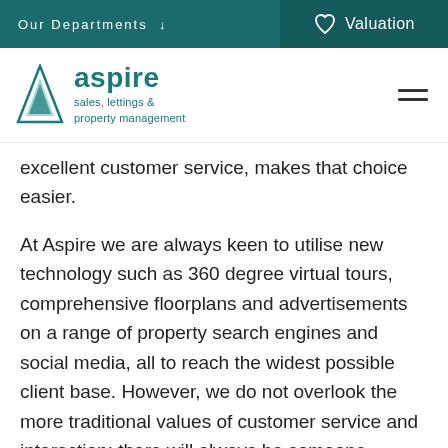Our Departments ↓   Valuation
[Figure (logo): Aspire sales, lettings & property management logo with teal triangular mountain icon]
excellent customer service, makes that choice easier.
At Aspire we are always keen to utilise new technology such as 360 degree virtual tours, comprehensive floorplans and advertisements on a range of property search engines and social media, all to reach the widest possible client base. However, we do not overlook the more traditional values of customer service and interaction; there will always be someone available to answer the phone and talk in person about any concerns you